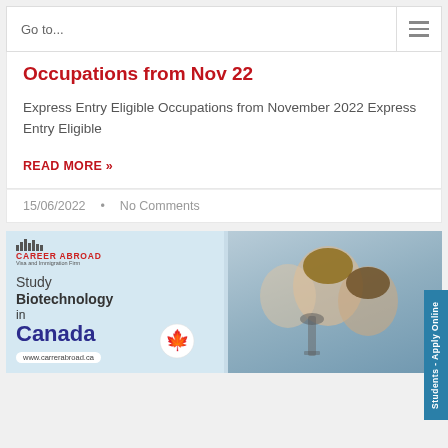Go to...
Occupations from Nov 22
Express Entry Eligible Occupations from November 2022 Express Entry Eligible
READ MORE »
15/06/2022  •  No Comments
[Figure (infographic): Career Abroad visa and immigration firm advertisement promoting Study Biotechnology in Canada with a red STUDY IN CANADA badge and a photo of students at a microscope. URL: www.carrerabroad.ca]